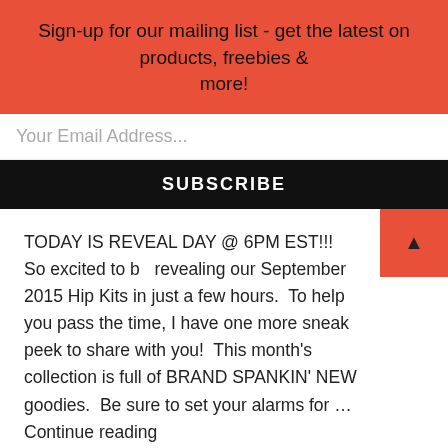Sign-up for our mailing list - get the latest on products, freebies & more!
Your Email Address...
SUBSCRIBE
TODAY IS REVEAL DAY @ 6PM EST!!! So excited to b… revealing our September 2015 Hip Kits in just a few hours.  To help you pass the time, I have one more sneak peek to share with you!  This month's collection is full of BRAND SPANKIN' NEW goodies.  Be sure to set your alarms for … Continue reading
SHARE THIS:
Facebook
Pinterest
LIKE THIS: